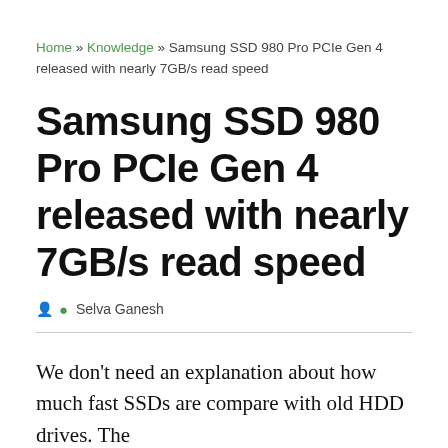Home » Knowledge » Samsung SSD 980 Pro PCIe Gen 4 released with nearly 7GB/s read speed
Samsung SSD 980 Pro PCIe Gen 4 released with nearly 7GB/s read speed
Selva Ganesh
We don't need an explanation about how much fast SSDs are compare with old HDD drives. The